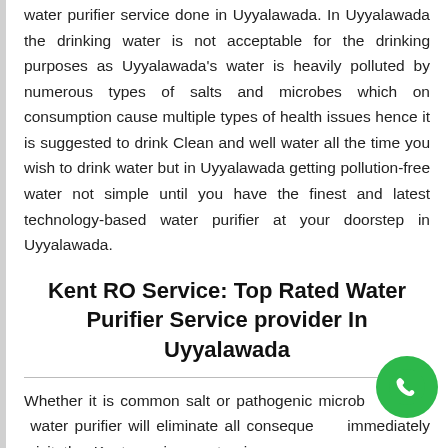water purifier service done in Uyyalawada. In Uyyalawada the drinking water is not acceptable for the drinking purposes as Uyyalawada's water is heavily polluted by numerous types of salts and microbes which on consumption cause multiple types of health issues hence it is suggested to drink Clean and well water all the time you wish to drink water but in Uyyalawada getting pollution-free water not simple until you have the finest and latest technology-based water purifier at your doorstep in Uyyalawada.
Kent RO Service: Top Rated Water Purifier Service provider In Uyyalawada
Whether it is common salt or pathogenic microbes, Kent water purifier will eliminate all consequently immediately visit the Kent service center in